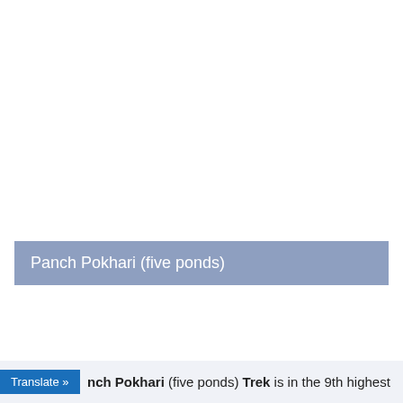Panch Pokhari (five ponds)
nch Pokhari (five ponds) Trek is in the 9th highest